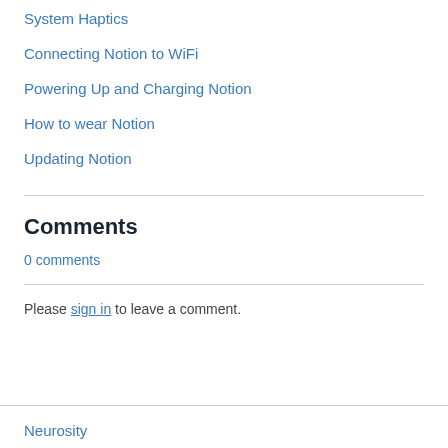System Haptics
Connecting Notion to WiFi
Powering Up and Charging Notion
How to wear Notion
Updating Notion
Comments
0 comments
Please sign in to leave a comment.
Neurosity